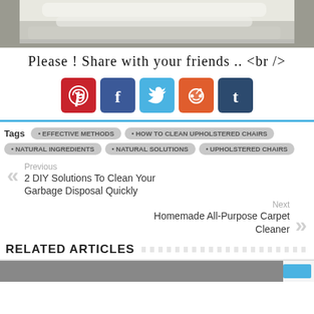[Figure (photo): Photo of white upholstered chair fabric, partially cropped at top]
Please ! Share with your friends .. <br />
[Figure (infographic): Row of five social media share buttons: Pinterest (red), Facebook (blue), Twitter (light blue), Reddit (orange), Tumblr (dark blue)]
Tags • EFFECTIVE METHODS • HOW TO CLEAN UPHOLSTERED CHAIRS • NATURAL INGREDIENTS • NATURAL SOLUTIONS • UPHOLSTERED CHAIRS
Previous
2 DIY Solutions To Clean Your Garbage Disposal Quickly
Next
Homemade All-Purpose Carpet Cleaner
RELATED ARTICLES